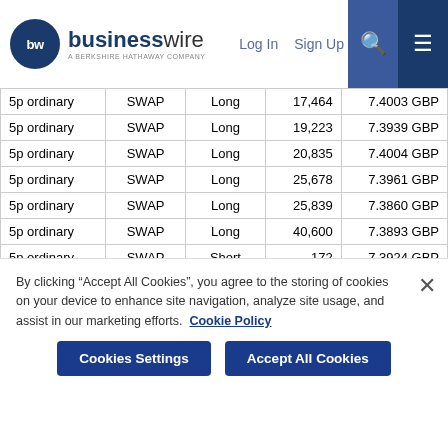businesswire - A Berkshire Hathaway Company | Log In | Sign Up
|  |  |  |  |  |
| --- | --- | --- | --- | --- |
| 5p ordinary | SWAP | Long | 17,464 | 7.4003 GBP |
| 5p ordinary | SWAP | Long | 19,223 | 7.3939 GBP |
| 5p ordinary | SWAP | Long | 20,835 | 7.4004 GBP |
| 5p ordinary | SWAP | Long | 25,678 | 7.3961 GBP |
| 5p ordinary | SWAP | Long | 25,839 | 7.3860 GBP |
| 5p ordinary | SWAP | Long | 40,600 | 7.3893 GBP |
| 5p ordinary | SWAP | Short | 172 | 7.3924 GBP |
| 5p ordinary | SWAP | Short | 2,375 | 7.3954 GBP |
| 5p ordinary | SWAP | Short | 4,531 | 7.3863 GBP |
| 5p ordinary | SWAP | Short | 10,101 | 7.3984 GBP |
By clicking “Accept All Cookies”, you agree to the storing of cookies on your device to enhance site navigation, analyze site usage, and assist in our marketing efforts. Cookie Policy